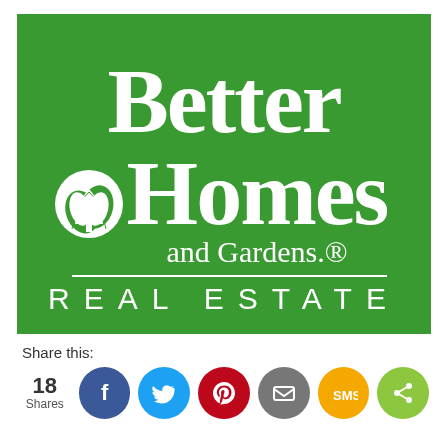[Figure (logo): Better Homes and Gardens Real Estate logo — green background with large white serif text reading 'Better Homes and Gardens.' with a white house/garden icon, and 'REAL ESTATE' in white spaced caps below a white horizontal rule.]
Share this:
18 Shares
[Figure (infographic): Row of social share buttons: Facebook (blue), Twitter (light blue), Pinterest (red), Email (grey), SMS (yellow/orange), Share (green)]